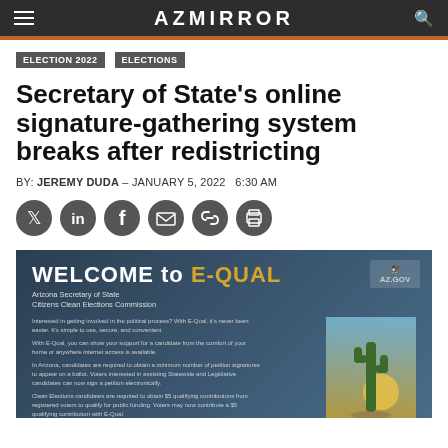AZ MIRROR
ELECTION 2022
ELECTIONS
Secretary of State’s online signature-gathering system breaks after redistricting
BY: JEREMY DUDA – JANUARY 5, 2022   6:30 AM
[Figure (infographic): Welcome to E-QUAL Arizona Secretary of State Citizens Clean Elections Commission promotional banner with cactus image and AZ.GOV logo]
Interested in getting involved in the political process? With E-Qual, it’s never been easier. It’s simple to use, secure, and convenient. With E-Qual, you can show your support for a candidate from the comfort of your home or anywhere internet access is available. In Arizona, candidates are required to obtain a minimum number of petition signatures to appear on a ballot. Voters interested in assisting Statewide and Legislative candidates can now sign a petition electronically. Clean Elections candidates are required to obtain $5 qualifying contributions from registered voters to qualify for public funding. Voters may now contribute a $5 qualifying contribution with E-Qual. Click on a box below to get started now!